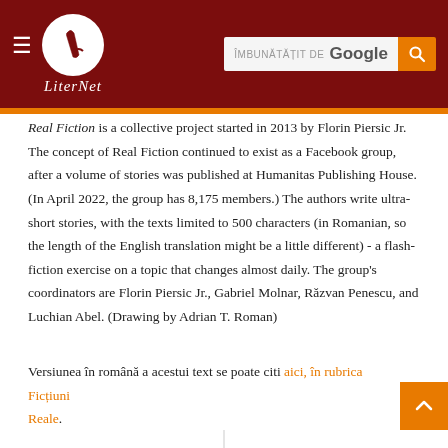LiterNet — ÎMBUNĂTĂȚIT DE Google [search bar]
Real Fiction is a collective project started in 2013 by Florin Piersic Jr. The concept of Real Fiction continued to exist as a Facebook group, after a volume of stories was published at Humanitas Publishing House. (In April 2022, the group has 8,175 members.) The authors write ultra-short stories, with the texts limited to 500 characters (in Romanian, so the length of the English translation might be a little different) - a flash-fiction exercise on a topic that changes almost daily. The group's coordinators are Florin Piersic Jr., Gabriel Molnar, Răzvan Penescu, and Luchian Abel. (Drawing by Adrian T. Roman)
Versiunea în română a acestui text se poate citi aici, în rubrica Ficțiuni Reale.